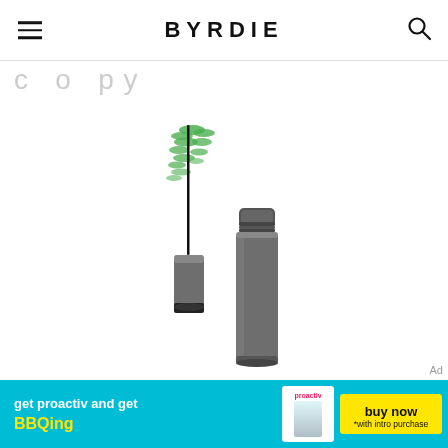BYRDIE
C o p y
[Figure (photo): W3ll People Expressionist Pro Mascara product photo showing open mascara with green brush applicator and gray tube container with W3ll People branding]
W3ll People Expressionist Pro Mascara ($22.00)
SHOP
[Figure (photo): Advertisement banner: get proactiv and get BBQing - buy now - with intro purchase]